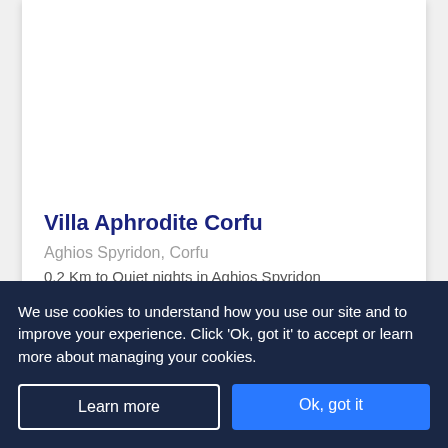Villa Aphrodite Corfu
Aghios Spyridon, Corfu
0.2 Km to Quiet nights in Aghios Spyridon
We use cookies to understand how you use our site and to improve your experience. Click 'Ok, got it' to accept or learn more about managing your cookies.
Learn more
Ok, got it